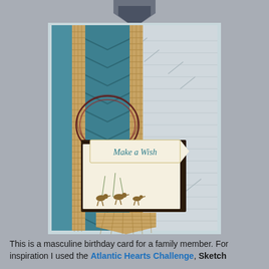[Figure (photo): A handmade masculine birthday card featuring teal/dark cyan cardstock with burlap ribbon, embossed chevron pattern, twine embellishment, and a stamped panel reading 'Make a Wish' with small bird images.]
This is a masculine birthday card for a family member. For inspiration I used the Atlantic Hearts Challenge, Sketch